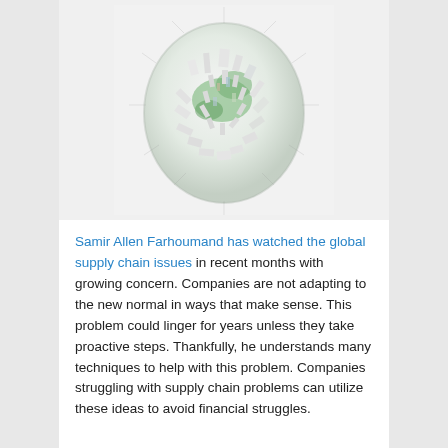[Figure (photo): Aerial photo of a densely packed city rendered as a globe-like sphere, viewed from above, with buildings, roads, and greenery visible in a rounded cluster against a light grey background.]
Samir Allen Farhoumand has watched the global supply chain issues in recent months with growing concern. Companies are not adapting to the new normal in ways that make sense. This problem could linger for years unless they take proactive steps. Thankfully, he understands many techniques to help with this problem. Companies struggling with supply chain problems can utilize these ideas to avoid financial struggles.